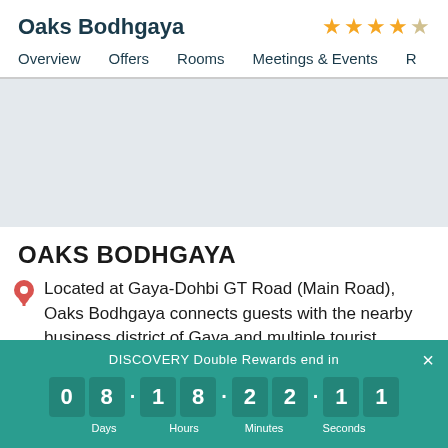Oaks Bodhgaya ★★★★☆
Overview   Offers   Rooms   Meetings & Events   R
[Figure (photo): Gray placeholder image area for hotel photo]
OAKS BODHGAYA
Located at Gaya-Dohbi GT Road (Main Road), Oaks Bodhgaya connects guests with the nearby business district of Gaya and multiple tourist
DISCOVERY Double Rewards end in   0 8 · 1 8 · 2 2 · 1 1   Days   Hours   Minutes   Seconds